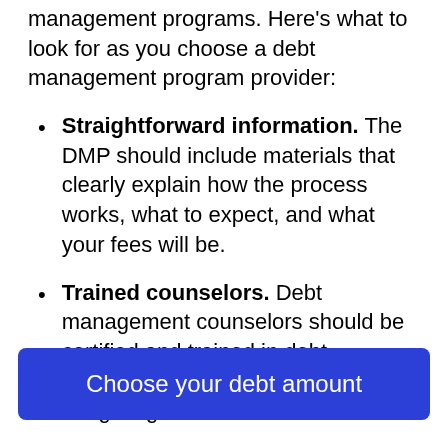credit counseling companies offer debt management programs. Here's what to look for as you choose a debt management program provider:
Straightforward information. The DMP should include materials that clearly explain how the process works, what to expect, and what your fees will be.
Trained counselors. Debt management counselors should be certified and trained in debt management, consumer credit, and budgeting.
Choose your debt amount